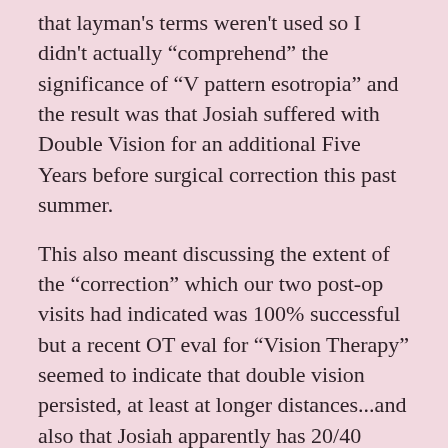that layman's terms weren't used so I didn't actually “comprehend” the significance of “V pattern esotropia” and the result was that Josiah suffered with Double Vision for an additional Five Years before surgical correction this past summer.
This also meant discussing the extent of the “correction” which our two post-op visits had indicated was 100% successful but a recent OT eval for “Vision Therapy” seemed to indicate that double vision persisted, at least at longer distances...and also that Josiah apparently has 20/40 &20/50 vision in his eyes.  [I’m guessing this means we should be looking into some type of correction but who/where I don’t know.]
This also meant discussing “Vision Therapy” and